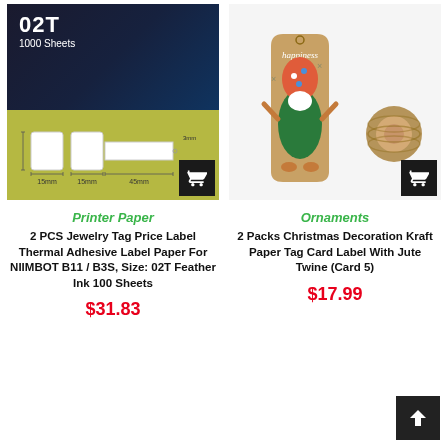[Figure (photo): Product image: 02T 1000 Sheets label paper for NIIMBOT, showing label dimensions diagram on olive/yellow-green background with ring photo on dark background]
[Figure (photo): Product image: Christmas Kraft Paper Tag Card with gnome/Santa illustration and jute twine spool on white background]
Printer Paper
Ornaments
2 PCS Jewelry Tag Price Label Thermal Adhesive Label Paper For NIIMBOT B11 / B3S, Size: 02T Feather Ink 100 Sheets
2 Packs Christmas Decoration Kraft Paper Tag Card Label With Jute Twine (Card 5)
$31.83
$17.99